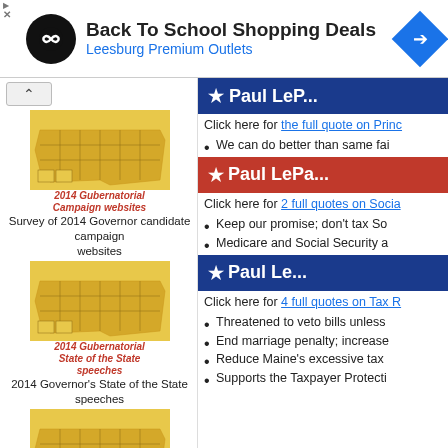[Figure (infographic): Advertisement banner: Back To School Shopping Deals - Leesburg Premium Outlets with circular logo and blue diamond navigation icon]
[Figure (infographic): Navigation up arrow button]
[Figure (map): 2014 Gubernatorial Campaign websites - US state map in yellow/gold]
Survey of 2014 Governor candidate campaign websites
[Figure (map): 2014 Gubernatorial State of the State speeches - US state map in yellow/gold]
2014 Governor's State of the State speeches
[Figure (map): 2013 Gubernatorial State of the State speeches - US state map in yellow/gold]
2013 Governor's State of the State speeches
[Figure (illustration): The Tea Party book cover]
[Figure (infographic): Blue banner - partial text visible (Paul LePage topic)]
Click here for the full quote on Princ...
We can do better than same fai...
[Figure (infographic): Red banner - star Paul LePa...]
Click here for 2 full quotes on Socia...
Keep our promise; don't tax So...
Medicare and Social Security a...
[Figure (infographic): Blue banner - star Paul Le...]
Click here for 4 full quotes on Tax R...
Threatened to veto bills unless...
End marriage penalty; increase...
Reduce Maine's excessive tax...
Supports the Taxpayer Protecti...